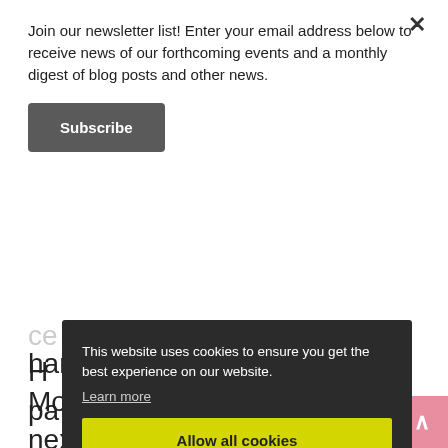Join our newsletter list! Enter your email address below to receive news of our forthcoming events and a monthly digest of blog posts and other news.
Subscribe
This website uses cookies to ensure you get the best experience on our website.
Learn more
Allow all cookies
Cookie settings
handful of International Modernist buildings before the next War changes everything yet again.